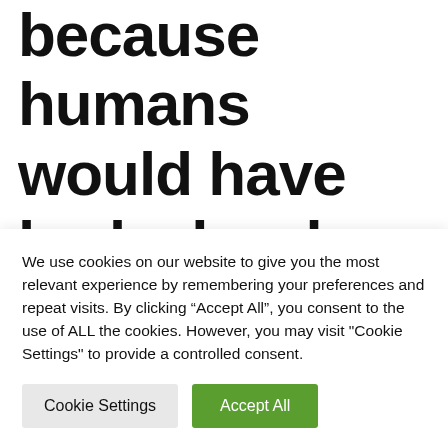because humans would have had a hard time creating intelligent machines, maybe
We use cookies on our website to give you the most relevant experience by remembering your preferences and repeat visits. By clicking “Accept All”, you consent to the use of ALL the cookies. However, you may visit "Cookie Settings" to provide a controlled consent.